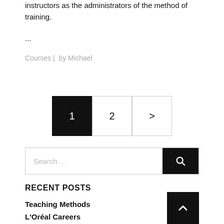instructors as the administrators of the method of training.
...
Courses |  by Michael
1  2  >
Search ...
RECENT POSTS
Teaching Methods
L'Oréal Careers